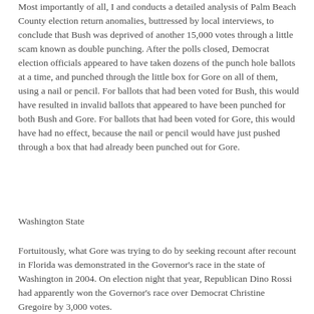Most importantly of all, I and conducts a detailed analysis of Palm Beach County election return anomalies, buttressed by local interviews, to conclude that Bush was deprived of another 15,000 votes through a little scam known as double punching. After the polls closed, Democrat election officials appeared to have taken dozens of the punch hole ballots at a time, and punched through the little box for Gore on all of them, using a nail or pencil. For ballots that had been voted for Bush, this would have resulted in invalid ballots that appeared to have been punched for both Bush and Gore. For ballots that had been voted for Gore, this would have had no effect, because the nail or pencil would have just pushed through a box that had already been punched out for Gore.
Washington State
Fortuitously, what Gore was trying to do by seeking recount after recount in Florida was demonstrated in the Governor's race in the state of Washington in 2004. On election night that year, Republican Dino Rossi had apparently won the Governor's race over Democrat Christine Gregoire by 3,000 votes.